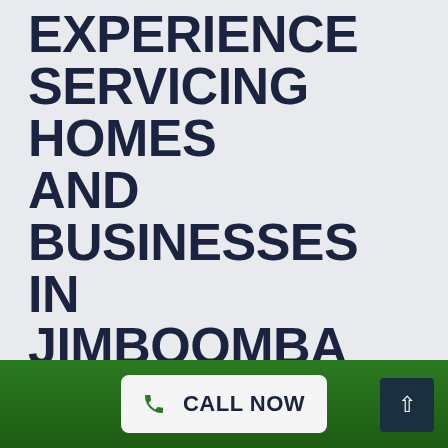EXPERIENCE SERVICING HOMES AND BUSINESSES IN JIMBOOMBA
The Top Plumbing Service in Jimboomba
As a leading plumbing service provider, we always take great pride in our professional expertise of the trade. All Suburbs Plumbing has the certification and endorsements, with the most up-to-date tools in the business and many years of plumbing
CALL NOW